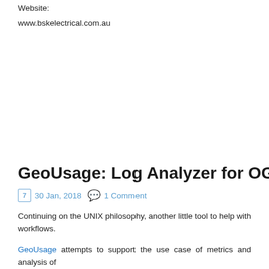Website:
www.bskelectrical.com.au
GeoUsage: Log Analyzer for OGC Web Services
30 Jan, 2018   1 Comment
Continuing on the UNIX philosophy, another little tool to help with workflows.
GeoUsage attempts to support the use case of metrics and analysis of